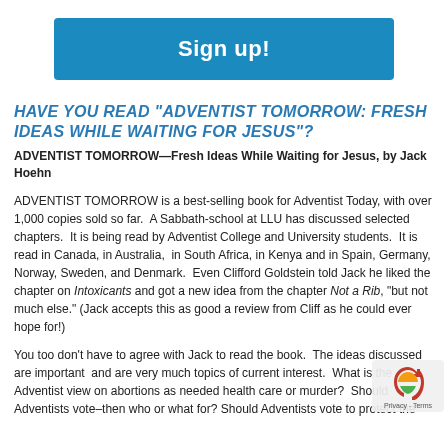[Figure (other): Blue 'Sign up!' button]
HAVE YOU READ "ADVENTIST TOMORROW: FRESH IDEAS WHILE WAITING FOR JESUS"?
ADVENTIST TOMORROW—Fresh Ideas While Waiting for Jesus, by Jack Hoehn
ADVENTIST TOMORROW is a best-selling book for Adventist Today, with over 1,000 copies sold so far. A Sabbath-school at LLU has discussed selected chapters. It is being read by Adventist College and University students. It is read in Canada, in Australia, in South Africa, in Kenya and in Spain, Germany, Norway, Sweden, and Denmark. Even Clifford Goldstein told Jack he liked the chapter on Intoxicants and got a new idea from the chapter Not a Rib, "but not much else." (Jack accepts this as good a review from Cliff as he could ever hope for!)
You too don't have to agree with Jack to read the book. The ideas discussed are important and are very much topics of current interest. What is the Adventist view on abortions as needed health care or murder? Should Adventists vote–then who or what for? Should Adventists vote to protect the